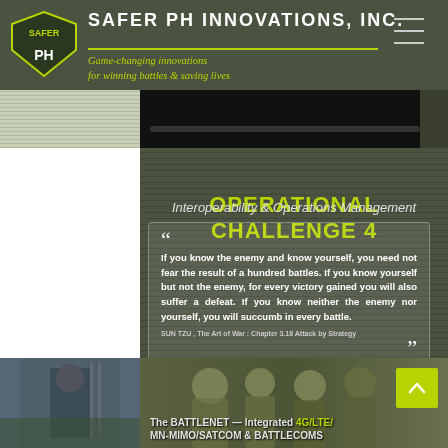SAFER PH INNOVATIONS, INC. — Game-changing innovations for winning battles & saving lives
OPERATIONAL CHALLENGE 4
Interoperability & Operations Management
If you know the enemy and know yourself, you need not fear the result of a hundred battles. If you know yourself but not the enemy, for every victory gained you will also suffer a defeat. If you know neither the enemy nor yourself, you will succumb in every battle.
SUN TZU , The Art of War : Chapter 3.18 Attack by Strategy
[Figure (photo): Military equipment and soldiers in tactical gear; bottom section shows photos of personnel with caption about BATTLENET integrated 4G/LTE/MN-MIMO/SATCOM & BATTLECOMS]
The BATTLENET — Integrated 4G/LTE/ MN-MIMO/SATCOM & BATTLECOMS